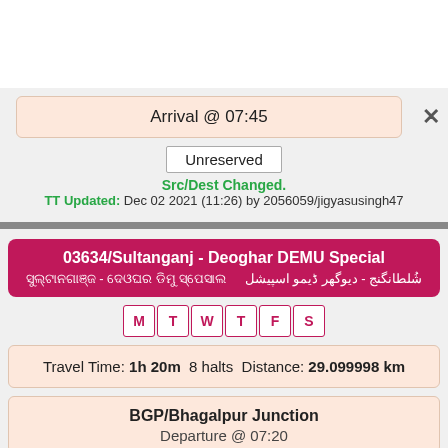Arrival @ 07:45
Unreserved
Src/Dest Changed.
TT Updated: Dec 02 2021 (11:26) by 2056059/jigyasusingh47
03634/Sultanganj - Deoghar DEMU Special
M T W T F S
Travel Time: 1h 20m  8 halts  Distance: 29.099998 km
BGP/Bhagalpur Junction
Departure @ 07:20